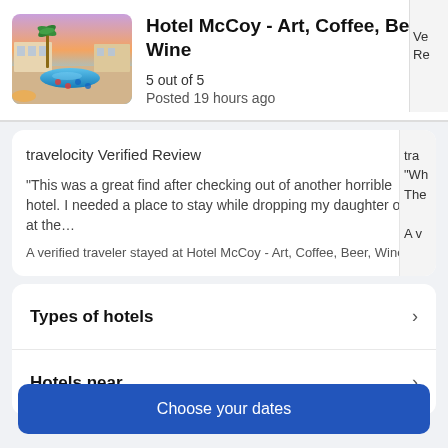[Figure (photo): Photo of Hotel McCoy showing a pool area at dusk with palm trees and warm lighting]
Hotel McCoy - Art, Coffee, Beer, Wine
5 out of 5
Posted 19 hours ago
travelocity Verified Review
"This was a great find after checking out of another horrible hotel. I needed a place to stay while dropping my daughter off at the…
A verified traveler stayed at Hotel McCoy - Art, Coffee, Beer, Wine
Types of hotels
Hotels near...
Choose your dates